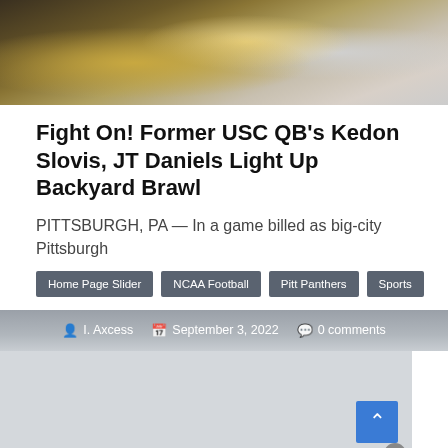[Figure (photo): Football players in action, showing players in green/yellow and white uniforms]
Fight On! Former USC QB's Kedon Slovis, JT Daniels Light Up Backyard Brawl
PITTSBURGH, PA — In a game billed as big-city Pittsburgh
Home Page Slider
NCAA Football
Pitt Panthers
Sports
I. Axcess   September 3, 2022   0 comments